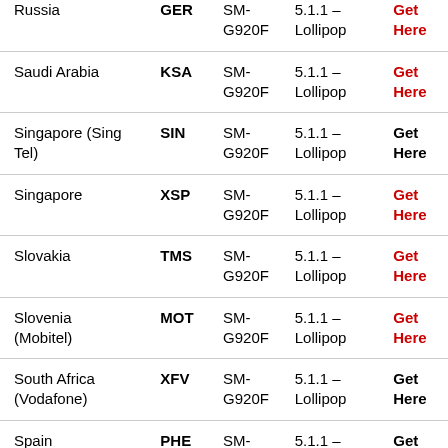| Country | Code | Model | Version | Link |
| --- | --- | --- | --- | --- |
| Russia (partial, top cut off) | GER | SM-G920F | 5.1.1 – Lollipop | Get Here |
| Saudi Arabia | KSA | SM-G920F | 5.1.1 – Lollipop | Get Here |
| Singapore (Sing Tel) | SIN | SM-G920F | 5.1.1 – Lollipop | Get Here |
| Singapore | XSP | SM-G920F | 5.1.1 – Lollipop | Get Here |
| Slovakia | TMS | SM-G920F | 5.1.1 – Lollipop | Get Here |
| Slovenia (Mobitel) | MOT | SM-G920F | 5.1.1 – Lollipop | Get Here |
| South Africa (Vodafone) | XFV | SM-G920F | 5.1.1 – Lollipop | Get Here |
| Spain | PHE | SM-G920F | 5.1.1 – Lollipop | Get Here |
| Spain (Nord Serv) (partial, bottom cut off) |  | SM- | 5.1.1 |  |